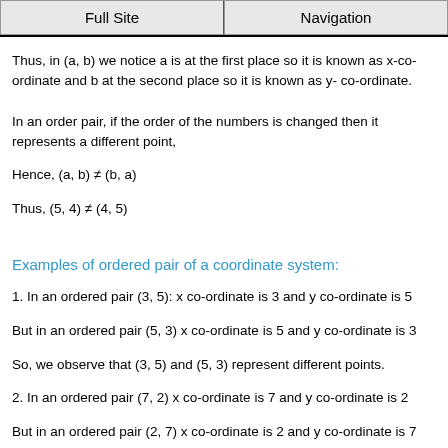Full Site | Navigation
Thus, in (a, b) we notice a is at the first place so it is known as x-co-ordinate and b at the second place so it is known as y- co-ordinate.
In an order pair, if the order of the numbers is changed then it represents a different point,
Hence, (a, b) ≠ (b, a)
Thus, (5, 4) ≠ (4, 5)
Examples of ordered pair of a coordinate system:
1. In an ordered pair (3, 5): x co-ordinate is 3 and y co-ordinate is 5
But in an ordered pair (5, 3) x co-ordinate is 5 and y co-ordinate is 3
So, we observe that (3, 5) and (5, 3) represent different points.
2. In an ordered pair (7, 2) x co-ordinate is 7 and y co-ordinate is 2
But in an ordered pair (2, 7) x co-ordinate is 2 and y co-ordinate is 7